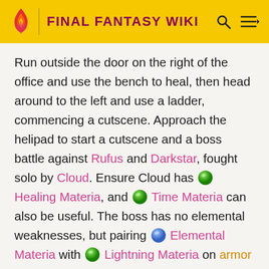FINAL FANTASY WIKI
Run outside the door on the right of the office and use the bench to heal, then head around to the left and use a ladder, commencing a cutscene. Approach the helipad to start a cutscene and a boss battle against Rufus and Darkstar, fought solo by Cloud. Ensure Cloud has [green materia] Healing Materia, and [green materia] Time Materia can also be useful. The boss has no elemental weaknesses, but pairing [blue materia] Elemental Materia with [green materia] Lightning Materia on armor to provide resistance to some attacks can be useful, and [green materia] Poison Materia makes for good damage over time, as Rufus in the second stage of battle is harder to hit. [purple materia] Steadfast Block Materia is also useful for how often guarding will be required as it further reduces damage